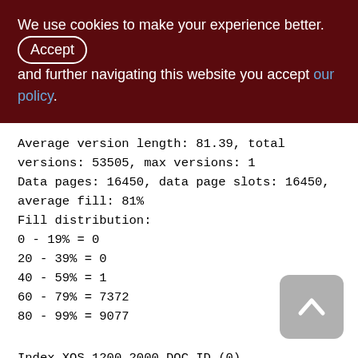We use cookies to make your experience better. By accepting and further navigating this website you accept our policy.
Average version length: 81.39, total versions: 53505, max versions: 1
Data pages: 16450, data page slots: 16450, average fill: 81%
Fill distribution:
0 - 19% = 0
20 - 39% = 0
40 - 59% = 1
60 - 79% = 7372
80 - 99% = 9077
Index XQS_1200_2000_DOC_ID (0)